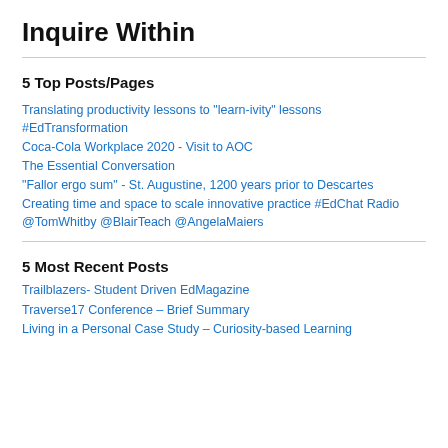Inquire Within
5 Top Posts/Pages
Translating productivity lessons to "learn-ivity" lessons #EdTransformation
Coca-Cola Workplace 2020 - Visit to AOC
The Essential Conversation
"Fallor ergo sum" - St. Augustine, 1200 years prior to Descartes
Creating time and space to scale innovative practice #EdChat Radio @TomWhitby @BlairTeach @AngelaMaiers
5 Most Recent Posts
Trailblazers- Student Driven EdMagazine
Traverse17 Conference – Brief Summary
Living in a Personal Case Study – Curiosity-based Learning